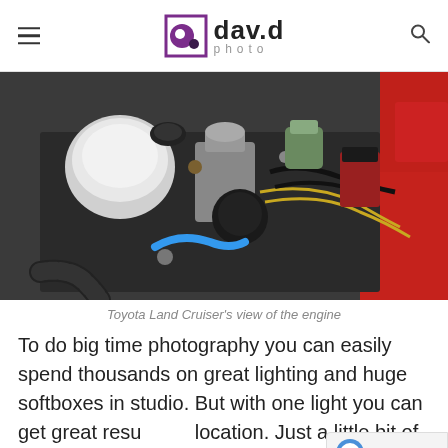dav.d photo
[Figure (photo): Close-up photograph of a Toyota Land Cruiser engine bay showing a complex assembly of engine components, carburetors, hoses (blue and black), wiring, and a bright red engine compartment wall.]
Toyota Land Cruiser's view of the engine
To do big time photography you can easily spend thousands on great lighting and huge softboxes in studio. But with one light you can get great results on location. Just a little bit of planning, good gear, a